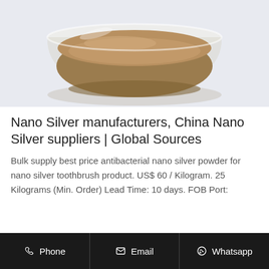[Figure (photo): Brown powder in a glass bowl/dish, product photo of nano silver powder, photographed against a light blue-grey background]
Nano Silver manufacturers, China Nano Silver suppliers | Global Sources
Bulk supply best price antibacterial nano silver powder for nano silver toothbrush product. US$ 60 / Kilogram. 25 Kilograms (Min. Order) Lead Time: 10 days. FOB Port:
Phone  Email  Whatsapp